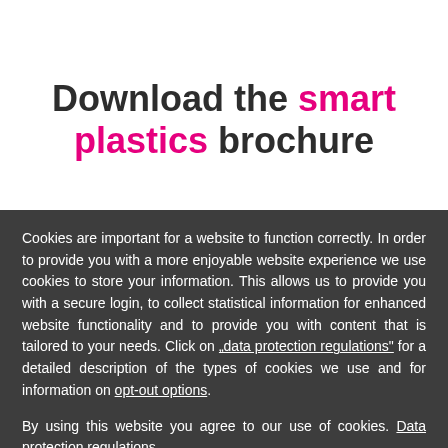Download the smart plastics brochure
Cookies are important for a website to function correctly. In order to provide you with a more enjoyable website experience we use cookies to store your information. This allows us to provide you with a secure login, to collect statistical information for enhanced website functionality and to provide you with content that is tailored to your needs. Click on ‚data protection regulations“ for a detailed description of the types of cookies we use and for information on opt-out options.
By using this website you agree to our use of cookies. Data protection regulations.
I agree.